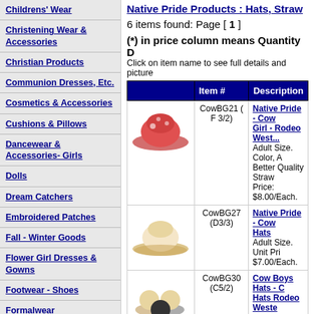Childrens' Wear
Christening Wear & Accessories
Christian Products
Communion Dresses, Etc.
Cosmetics & Accessories
Cushions & Pillows
Dancewear & Accessories- Girls
Dolls
Dream Catchers
Embroidered Patches
Fall - Winter Goods
Flower Girl Dresses & Gowns
Footwear - Shoes
Formalwear
Gift Bags, Wrapping Mat., Etc.
Gift Boxed Sets For Babies
Native Pride Products : Hats, Straw
6 items found: Page [ 1 ]
(*) in price column means Quantity D
Click on item name to see full details and picture
|  | Item # | Description |
| --- | --- | --- |
| [image] | CowBG21 (F 3/2) | Native Pride - Cow Girl - Rodeo West... Adult Size. Color, A Better Quality Straw Price: $8.00/Each. |
| [image] | CowBG27 (D3/3) | Native Pride - Cow Hats Adult Size. Unit Pri $7.00/Each. |
| [image] | CowBG30 (C5/2) | Cow Boys Hats - Hats Rodeo Weste Hats One Size Fits All. A Colors Per Pack, A Unit Price: $4.00/E |
| [image] | CowBG40 (C1/4) | Cow Boys - Cow Western Straw Ha Adult Size: One Siz |